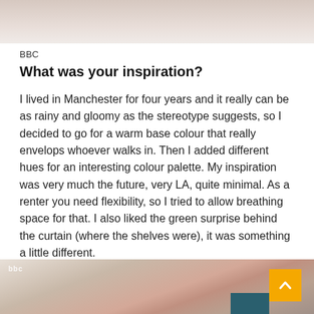[Figure (photo): Top portion of a photo showing soft blurred beige/warm tones, likely a room interior]
BBC
What was your inspiration?
I lived in Manchester for four years and it really can be as rainy and gloomy as the stereotype suggests, so I decided to go for a warm base colour that really envelops whoever walks in. Then I added different hues for an interesting colour palette. My inspiration was very much the future, very LA, quite minimal. As a renter you need flexibility, so I tried to allow breathing space for that. I also liked the green surprise behind the curtain (where the shelves were), it was something a little different.
[Figure (photo): Bottom portion showing a BBC interior design image with person, terracotta/salmon colored curved shapes, green plant, and teal block]